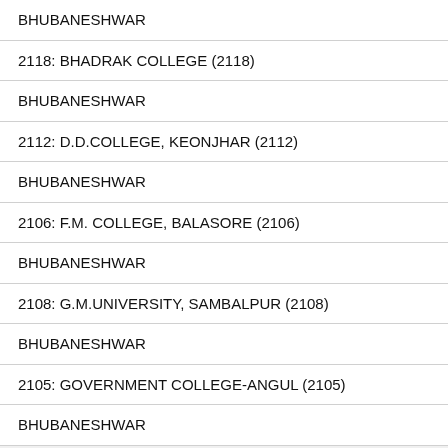BHUBANESHWAR
2118: BHADRAK COLLEGE (2118)
BHUBANESHWAR
2112: D.D.COLLEGE, KEONJHAR (2112)
BHUBANESHWAR
2106: F.M. COLLEGE, BALASORE (2106)
BHUBANESHWAR
2108: G.M.UNIVERSITY, SAMBALPUR (2108)
BHUBANESHWAR
2105: GOVERNMENT COLLEGE-ANGUL (2105)
BHUBANESHWAR